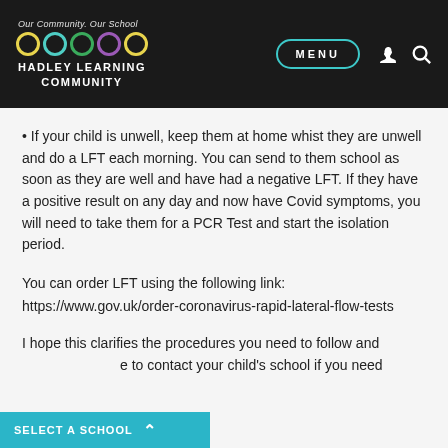Our Community. Our School — HADLEY LEARNING COMMUNITY — MENU
If your child is unwell, keep them at home whist they are unwell and do a LFT each morning. You can send to them school as soon as they are well and have had a negative LFT. If they have a positive result on any day and now have Covid symptoms, you will need to take them for a PCR Test and start the isolation period.
You can order LFT using the following link:
https://www.gov.uk/order-coronavirus-rapid-lateral-flow-tests
I hope this clarifies the procedures you need to follow and [text continues] to contact your child's school if you need